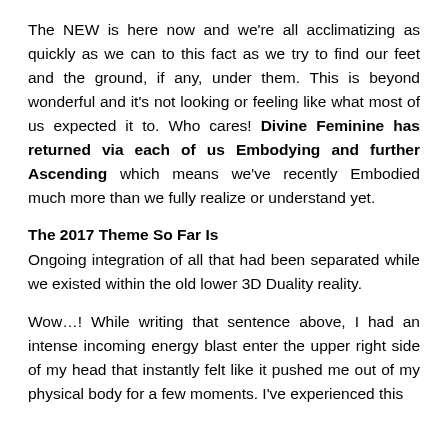The NEW is here now and we're all acclimatizing as quickly as we can to this fact as we try to find our feet and the ground, if any, under them. This is beyond wonderful and it's not looking or feeling like what most of us expected it to. Who cares! Divine Feminine has returned via each of us Embodying and further Ascending which means we've recently Embodied much more than we fully realize or understand yet.
The 2017 Theme So Far Is
Ongoing integration of all that had been separated while we existed within the old lower 3D Duality reality.
Wow…! While writing that sentence above, I had an intense incoming energy blast enter the upper right side of my head that instantly felt like it pushed me out of my physical body for a few moments. I've experienced this